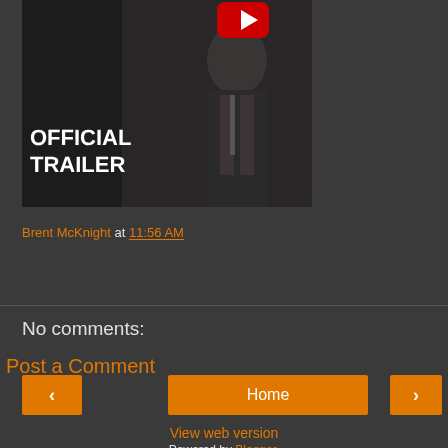[Figure (screenshot): YouTube video thumbnail showing 'OFFICIAL TRAILER' text overlay with a man in a suit and a YouTube play button icon visible in the top right]
Brent McKnight at 11:56 AM
Share
No comments:
Post a Comment
< Home >
View web version
Powered by Blogger.